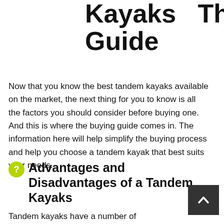Kayaks   The Guide
Now that you know the best tandem kayaks available on the market, the next thing for you to know is all the factors you should consider before buying one. And this is where the buying guide comes in. The information here will help simplify the buying process and help you choose a tandem kayak that best suits your needs.
❓ Advantages and Disadvantages of a Tandem Kayaks
Tandem kayaks have a number of